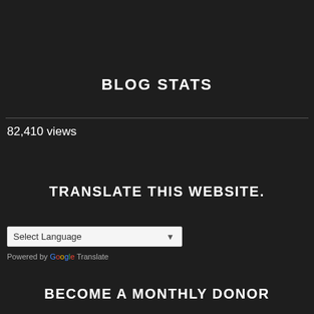BLOG STATS
82,410 views
TRANSLATE THIS WEBSITE.
[Figure (screenshot): Select Language dropdown widget with 'Powered by Google Translate' below]
BECOME A MONTHLY DONOR